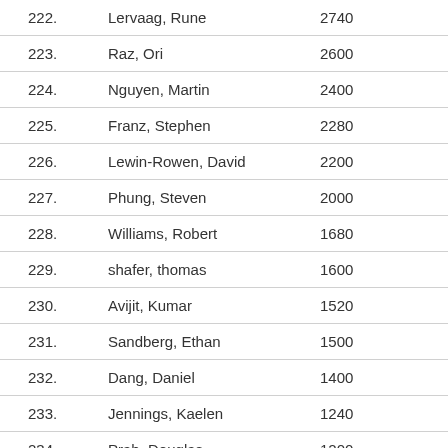| Rank | Name | Score |
| --- | --- | --- |
| 222. | Lervaag, Rune | 2740 |
| 223. | Raz, Ori | 2600 |
| 224. | Nguyen, Martin | 2400 |
| 225. | Franz, Stephen | 2280 |
| 226. | Lewin-Rowen, David | 2200 |
| 227. | Phung, Steven | 2000 |
| 228. | Williams, Robert | 1680 |
| 229. | shafer, thomas | 1600 |
| 230. | Avijit, Kumar | 1520 |
| 231. | Sandberg, Ethan | 1500 |
| 232. | Dang, Daniel | 1400 |
| 233. | Jennings, Kaelen | 1240 |
| 234. | Prah, Douglas | 1200 |
| 234. | Roth, Steven | 1200 |
| 236. | Mcallister, Ian | 1080 |